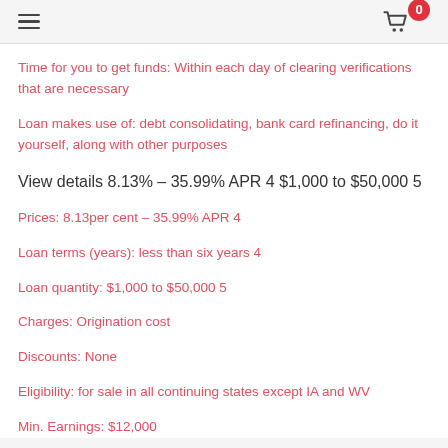≡  🛒 0
Time for you to get funds: Within each day of clearing verifications that are necessary
Loan makes use of: debt consolidating, bank card refinancing, do it yourself, along with other purposes
View details 8.13% – 35.99% APR 4 $1,000 to $50,000 5
Prices: 8.13per cent – 35.99% APR 4
Loan terms (years): less than six years 4
Loan quantity: $1,000 to $50,000 5
Charges: Origination cost
Discounts: None
Eligibility: for sale in all continuing states except IA and WV
Min. Earnings: $12,000